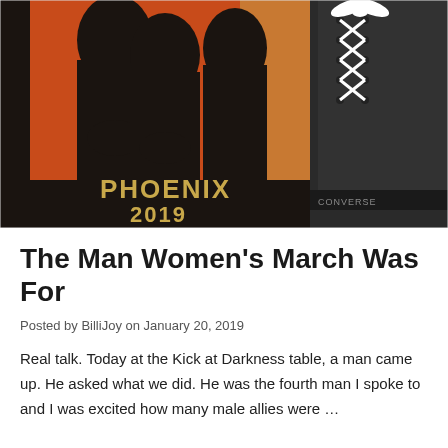[Figure (photo): Close-up photo of a black t-shirt with an orange and gold graphic showing silhouetted faces and the text 'PHOENIX 2019' in gold letters, alongside a black Converse sneaker with white laces.]
The Man Women's March Was For
Posted by BilliJoy on January 20, 2019
Real talk. Today at the Kick at Darkness table, a man came up. He asked what we did. He was the fourth man I spoke to and I was excited how many male allies were …